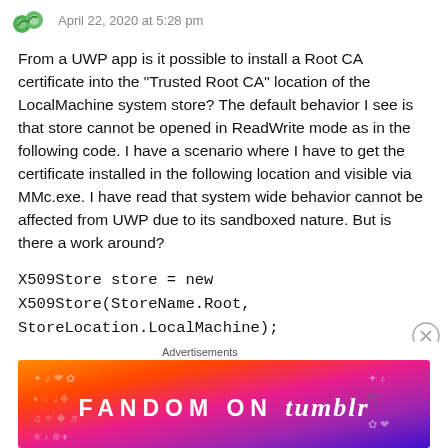April 22, 2020 at 5:28 pm
From a UWP app is it possible to install a Root CA certificate into the “Trusted Root CA” location of the LocalMachine system store? The default behavior I see is that store cannot be opened in ReadWrite mode as in the following code. I have a scenario where I have to get the certificate installed in the following location and visible via MMc.exe. I have read that system wide behavior cannot be affected from UWP due to its sandboxed nature. But is there a work around?
X509Store store = new X509Store(StoreName.Root, StoreLocation.LocalMachine);
store.Open(OpenFlags.ReadWrite);
Advertisements
[Figure (illustration): Fandom on Tumblr advertisement banner with colorful gradient background in orange, pink, and purple with white text]